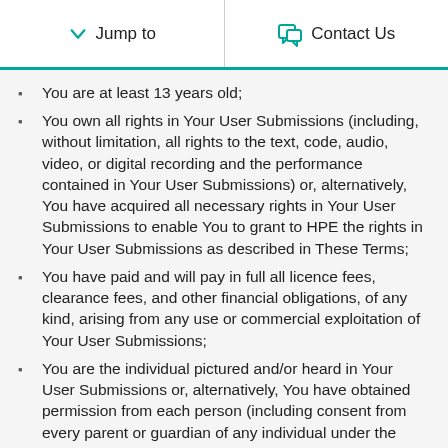Jump to | Contact Us
You are at least 13 years old;
You own all rights in Your User Submissions (including, without limitation, all rights to the text, code, audio, video, or digital recording and the performance contained in Your User Submissions) or, alternatively, You have acquired all necessary rights in Your User Submissions to enable You to grant to HPE the rights in Your User Submissions as described in These Terms;
You have paid and will pay in full all licence fees, clearance fees, and other financial obligations, of any kind, arising from any use or commercial exploitation of Your User Submissions;
You are the individual pictured and/or heard in Your User Submissions or, alternatively, You have obtained permission from each person (including consent from every parent or guardian of any individual under the